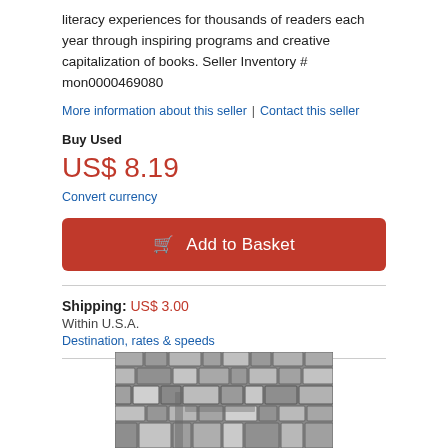literacy experiences for thousands of readers each year through inspiring programs and creative capitalization of books. Seller Inventory # mon0000469080
More information about this seller | Contact this seller
Buy Used
US$ 8.19
Convert currency
Add to Basket
Shipping: US$ 3.00
Within U.S.A.
Destination, rates & speeds
[Figure (photo): Black and white photograph of a stone or brick mosaic/cobblestone surface, showing irregular flat stones arranged in a pattern, cropped at the bottom of the page.]